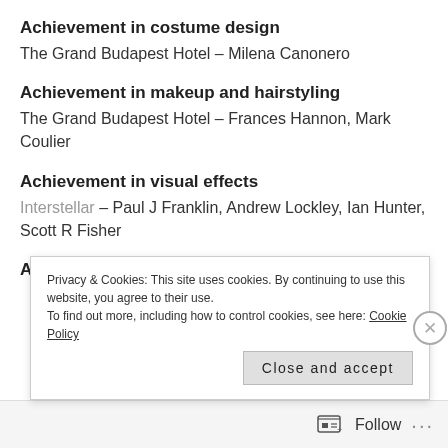Achievement in costume design
The Grand Budapest Hotel – Milena Canonero
Achievement in makeup and hairstyling
The Grand Budapest Hotel – Frances Hannon, Mark Coulier
Achievement in visual effects
Interstellar – Paul J Franklin, Andrew Lockley, Ian Hunter, Scott R Fisher
Achievement in cinematography
Privacy & Cookies: This site uses cookies. By continuing to use this website, you agree to their use.
To find out more, including how to control cookies, see here: Cookie Policy
Close and accept
Follow